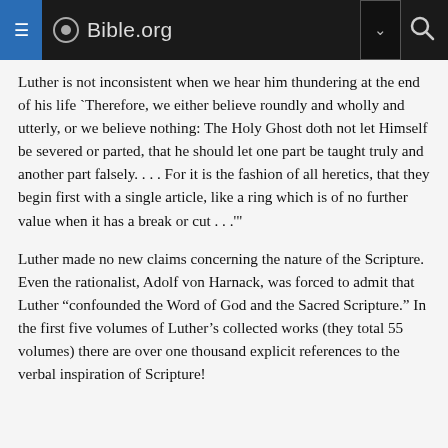Bible.org
Luther is not inconsistent when we hear him thundering at the end of his life `Therefore, we either believe roundly and wholly and utterly, or we believe nothing: The Holy Ghost doth not let Himself be severed or parted, that he should let one part be taught truly and another part falsely. . . . For it is the fashion of all heretics, that they begin first with a single article, like a ring which is of no further value when it has a break or cut . . .'"
Luther made no new claims concerning the nature of the Scripture. Even the rationalist, Adolf von Harnack, was forced to admit that Luther “confounded the Word of God and the Sacred Scripture.” In the first five volumes of Luther’s collected works (they total 55 volumes) there are over one thousand explicit references to the verbal inspiration of Scripture!